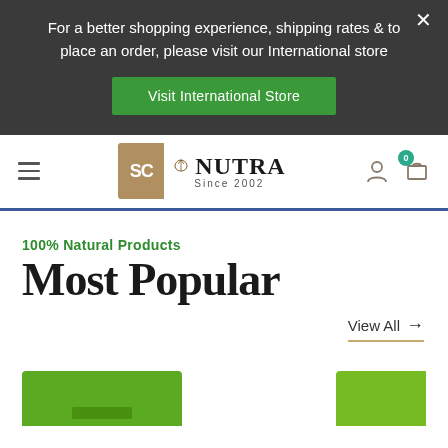For a better shopping experience, shipping rates & to place an order, please visit our International store
Visit International Store
[Figure (logo): SC Nutra logo with tan/gold SC box and leaf emblem, text reads 'SC NUTRA Since 2002']
100% Natural Products
Most Popular
View All →